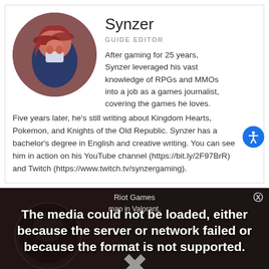Synzer
GUIDE EDITOR
After gaming for 25 years, Synzer leveraged his vast knowledge of RPGs and MMOs into a job as a games journalist, covering the games he loves. Five years later, he's still writing about Kingdom Hearts, Pokemon, and Knights of the Old Republic. Synzer has a bachelor's degree in English and creative writing. You can see him in action on his YouTube channel (https://bit.ly/2F97BrR) and Twitch (https://www.twitch.tv/synzergaming).
[Figure (other): Media error overlay: 'The media could not be loaded, either because the server or network failed or because the format is not supported.' over a dark background with Riot Games map in Valorant caption and an X mark]
Source  gameskinny.com
Published Jul. 30th 2015